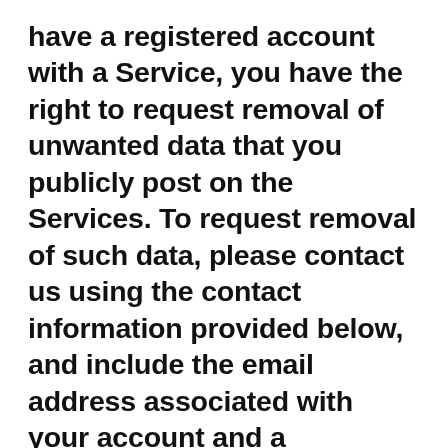have a registered account with a Service, you have the right to request removal of unwanted data that you publicly post on the Services. To request removal of such data, please contact us using the contact information provided below, and include the email address associated with your account and a statement that you reside in California. We will make sure the data is not publicly displayed on the Services, but please be aware that the data may not be completely or